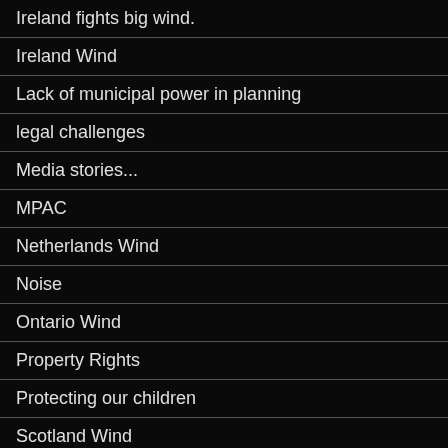Ireland fights big wind.
Ireland Wind
Lack of municipal power in planning
legal challenges
Media stories...
MPAC
Netherlands Wind
Noise
Ontario Wind
Property Rights
Protecting our children
Scotland Wind
Shadow Flicker